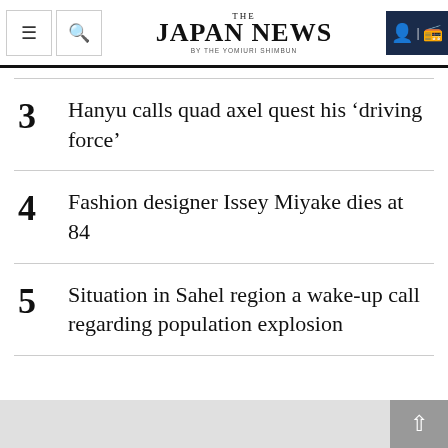THE JAPAN NEWS BY THE YOMIURI SHIMBUN
3 Hanyu calls quad axel quest his ‘driving force’
4 Fashion designer Issey Miyake dies at 84
5 Situation in Sahel region a wake-up call regarding population explosion